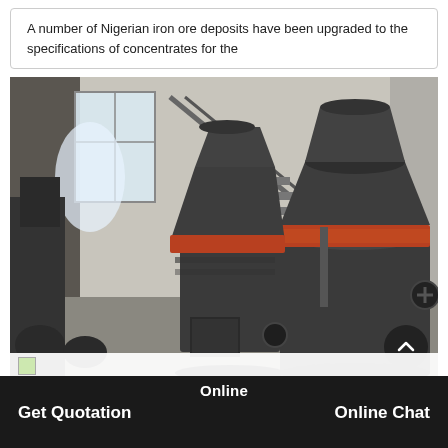A number of Nigerian iron ore deposits have been upgraded to the specifications of concentrates for the
[Figure (photo): Industrial photo of large dark grey cone crusher machines inside a factory building. Two large cylindrical cone-shaped grinding/crushing units with orange/red accent bands are visible, arranged in a workshop with brick walls and steel staircases in the background.]
Online
Get Quotation
Online Chat